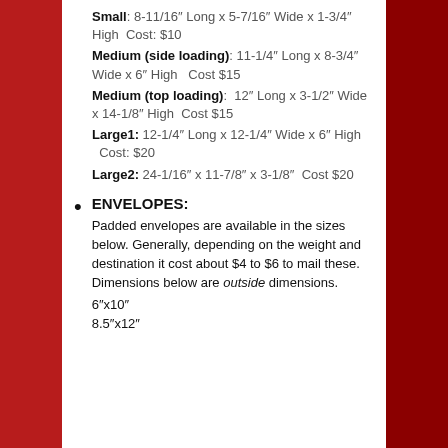Small: 8-11/16" Long x 5-7/16" Wide x 1-3/4" High  Cost: $10
Medium (side loading): 11-1/4" Long x 8-3/4" Wide x 6" High   Cost $15
Medium (top loading):  12" Long x 3-1/2" Wide x 14-1/8" High  Cost $15
Large1: 12-1/4" Long x 12-1/4" Wide x 6" High   Cost: $20
Large2: 24-1/16" x 11-7/8" x 3-1/8"  Cost $20
ENVELOPES: Padded envelopes are available in the sizes below. Generally, depending on the weight and destination it cost about $4 to $6 to mail these. Dimensions below are outside dimensions. 6"x10" 8.5"x12"